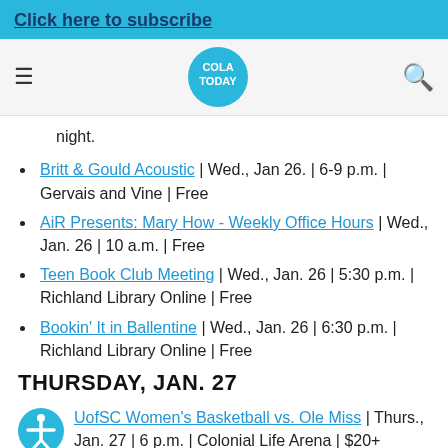Click here to subscribe
night.
Britt & Gould Acoustic | Wed., Jan 26. | 6-9 p.m. | Gervais and Vine | Free
AiR Presents: Mary How - Weekly Office Hours | Wed., Jan. 26 | 10 a.m. | Free
Teen Book Club Meeting | Wed., Jan. 26 | 5:30 p.m. | Richland Library Online | Free
Bookin' It in Ballentine | Wed., Jan. 26 | 6:30 p.m. | Richland Library Online | Free
THURSDAY, JAN. 27
UofSC Women's Basketball vs. Ole Miss | Thurs., Jan. 27 | 6 p.m. | Colonial Life Arena | $20+